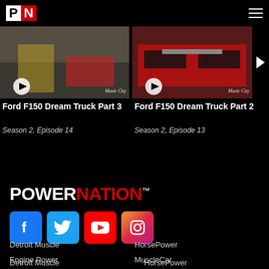PN logo and hamburger menu
[Figure (screenshot): Video thumbnail for Ford F150 Dream Truck Part 3 with play button and Music City watermark]
Ford F150 Dream Truck Part 3
Season 2, Episode 14
[Figure (screenshot): Video thumbnail for Ford F150 Dream Truck Part 2 with play button and Music City watermark]
Ford F150 Dream Truck Part 2
Season 2, Episode 13
[Figure (logo): PowerNation logo in white and red with TM mark]
[Figure (infographic): Social media icons: Facebook, Twitter, YouTube, Instagram]
Detroit Muscle
Engine Power
Xtreme Off-Road
Truck Tech
PowerNation Daily
PowerNation Garage
HorsePower
MuscleCar
Trucks!
Xtreme 4x4
Search & Restore
Off Road Action